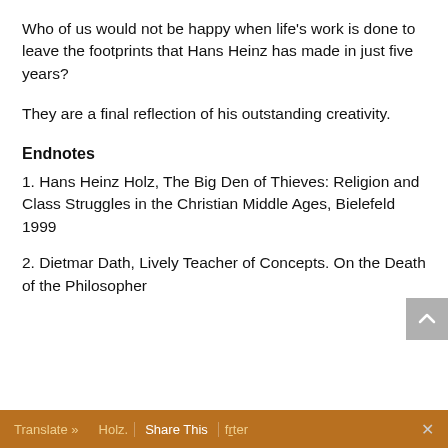Who of us would not be happy when life's work is done to leave the footprints that Hans Heinz has made in just five years?
They are a final reflection of his outstanding creativity.
Endnotes
1. Hans Heinz Holz, The Big Den of Thieves: Religion and Class Struggles in the Christian Middle Ages, Bielefeld 1999
2. Dietmar Dath, Lively Teacher of Concepts. On the Death of the Philosopher
Translate » Holz. Share This Frankfurter ×